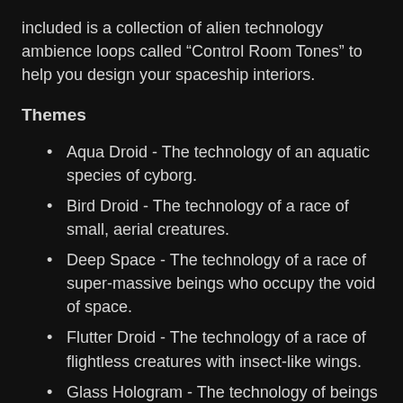included is a collection of alien technology ambience loops called “Control Room Tones” to help you design your spaceship interiors.
Themes
Aqua Droid - The technology of an aquatic species of cyborg.
Bird Droid - The technology of a race of small, aerial creatures.
Deep Space - The technology of a race of super-massive beings who occupy the void of space.
Flutter Droid - The technology of a race of flightless creatures with insect-like wings.
Glass Hologram - The technology of beings who primarily use glass devices to project holograms.
Prism - The technology of beings whose devices are based around prisms and light refraction.
Rust Bucket - The technology of beings whose ships